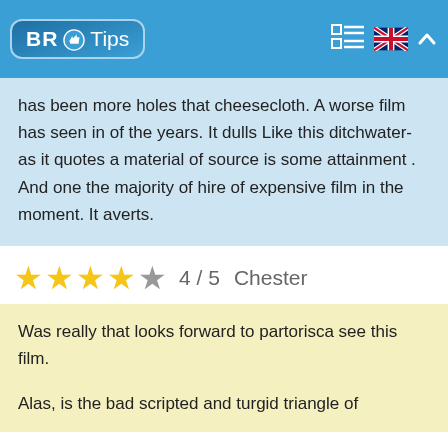BR Tips
has been more holes that cheesecloth. A worse film has seen in of the years. It dulls Like this ditchwater- as it quotes a material of source is some attainment . And one the majority of hire of expensive film in the moment. It averts.
4 / 5  Chester
Was really that looks forward to partorisca see this film.

Alas, is the bad scripted and turgid triangle of